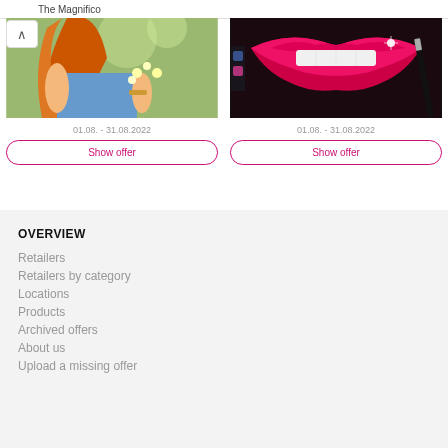The Magnifico
[Figure (photo): Woman with red hair holding flowers outdoors in green setting]
01.08. - 31.08.2022
Show offer
[Figure (photo): Close-up of lips with red lipstick and a makeup pencil]
01.08. - 31.08.2022
Show offer
OVERVIEW
Retailers
Retailers by category
Locations
Products
Archived offers
About us
Upload a missing offer